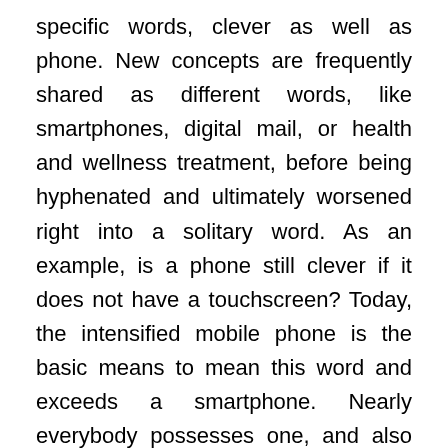specific words, clever as well as phone. New concepts are frequently shared as different words, like smartphones, digital mail, or health and wellness treatment, before being hyphenated and ultimately worsened right into a solitary word. As an example, is a phone still clever if it does not have a touchscreen? Today, the intensified mobile phone is the basic means to mean this word and exceeds a smartphone. Nearly everybody possesses one, and also many have a cell phone. Or do you require the current 5G phone?
With modern technology currently functioning tougher than ever in the past, Samsung likewise identified a demand for a brand-new billing terminal that can power up even more of your